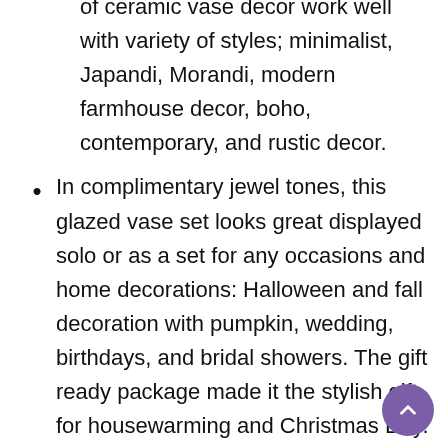These earthy, chic and fun color combinations of ceramic vase decor work well with variety of styles; minimalist, Japandi, Morandi, modern farmhouse decor, boho, contemporary, and rustic decor.
In complimentary jewel tones, this glazed vase set looks great displayed solo or as a set for any occasions and home decorations: Halloween and fall decoration with pumpkin, wedding, birthdays, and bridal showers. The gift ready package made it the stylish gift for housewarming and Christmas Day.
These decorative ceramic vases can serve as beautiful centerpieces for home decor living room and entryway decor to add a minimalist